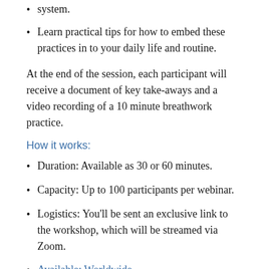system.
Learn practical tips for how to embed these practices in to your daily life and routine.
At the end of the session, each participant will receive a document of key take-aways and a video recording of a 10 minute breathwork practice.
How it works:
Duration: Available as 30 or 60 minutes.
Capacity: Up to 100 participants per webinar.
Logistics: You'll be sent an exclusive link to the workshop, which will be streamed via Zoom.
Available: Worldwide.
Your teacher: A highly experienced breath